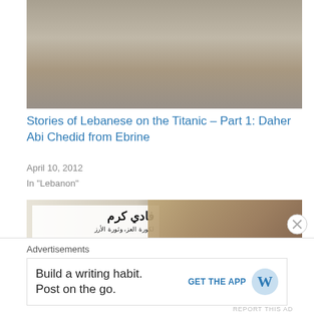[Figure (photo): Black and white photo of a stone wall and rocky ground, partially visible, cropped at top]
Stories of Lebanese on the Titanic – Part 1: Daher Abi Chedid from Ebrine
April 10, 2012
In "Lebanon"
[Figure (photo): Photograph of a Lebanese political billboard featuring Fadi Karam with Arabic text and a cedar tree symbol]
Advertisements
Build a writing habit.
Post on the go.
GET THE APP